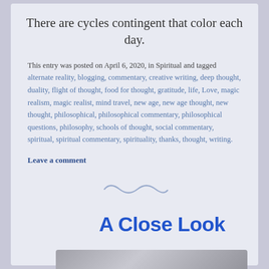There are cycles contingent that color each day.
This entry was posted on April 6, 2020, in Spiritual and tagged alternate reality, blogging, commentary, creative writing, deep thought, duality, flight of thought, food for thought, gratitude, life, Love, magic realism, magic realist, mind travel, new age, new age thought, new thought, philosophical, philosophical commentary, philosophical questions, philosophy, schools of thought, social commentary, spiritual, spiritual commentary, spirituality, thanks, thought, writing.
Leave a comment
[Figure (illustration): Decorative swirl/tilde divider symbol]
A Close Look
[Figure (photo): Partial photo visible at bottom of page, gray tones]